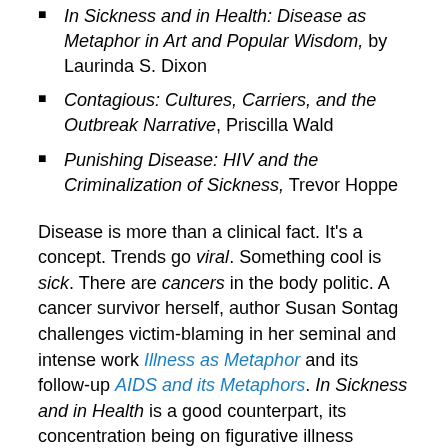In Sickness and in Health: Disease as Metaphor in Art and Popular Wisdom, by Laurinda S. Dixon
Contagious: Cultures, Carriers, and the Outbreak Narrative, Priscilla Wald
Punishing Disease: HIV and the Criminalization of Sickness, Trevor Hoppe
Disease is more than a clinical fact. It's a concept. Trends go viral. Something cool is sick. There are cancers in the body politic. A cancer survivor herself, author Susan Sontag challenges victim-blaming in her seminal and intense work Illness as Metaphor and its follow-up AIDS and its Metaphors. In Sickness and in Health is a good counterpart, its concentration being on figurative illness through the visual arts and imagery. Many people with AIDs belonged to stigmatized minorities which led to